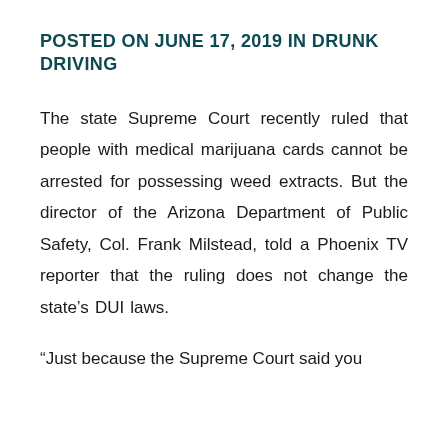POSTED ON JUNE 17, 2019 IN DRUNK DRIVING
The state Supreme Court recently ruled that people with medical marijuana cards cannot be arrested for possessing weed extracts. But the director of the Arizona Department of Public Safety, Col. Frank Milstead, told a Phoenix TV reporter that the ruling does not change the state’s DUI laws.
“Just because the Supreme Court said you